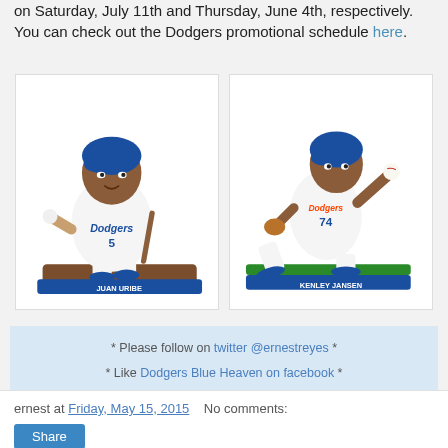on Saturday, July 11th and Thursday, June 4th, respectively. You can check out the Dodgers promotional schedule here.
[Figure (photo): Two Dodgers bobblehead figurines side by side: left is Juan Uribe (#5) in batting stance on a base, right is Kenley Jansen (#74) in pitching stance on a base.]
* Please follow on twitter @ernestreyes * * Like Dodgers Blue Heaven on facebook * * Dodgers Blue Heaven home page *
ernest at Friday, May 15, 2015   No comments:
Share